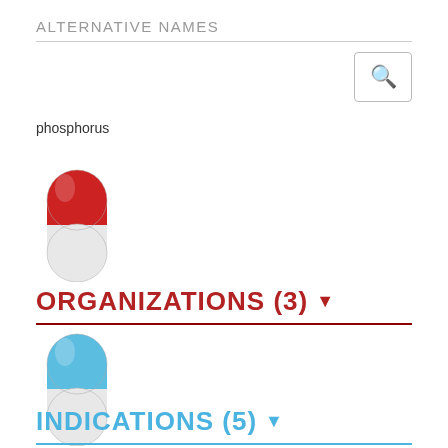ALTERNATIVE NAMES
phosphorus
[Figure (illustration): Red and white capsule pill illustration]
ORGANIZATIONS (3)
[Figure (illustration): Blue and white capsule pill illustration]
INDICATIONS (5)